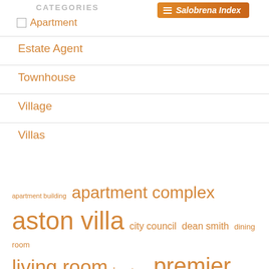CATEGORIES
[Figure (other): Salobrena Index button with orange background and list icon]
Apartment
Estate Agent
Townhouse
Village
Villas
apartment building  apartment complex  aston villa  city council  dean smith  dining room  living room  long term  premier league  real estate  single family  square feet  square foot  steven gerrard  villa park